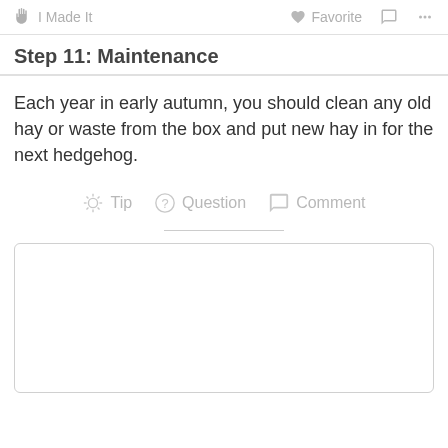✋ I Made It   ♡ Favorite   💬   ⋮⋮⋮
Step 11: Maintenance
Each year in early autumn, you should clean any old hay or waste from the box and put new hay in for the next hedgehog.
Tip   Question   Comment
[Figure (other): Empty comment/text input box with rounded border]